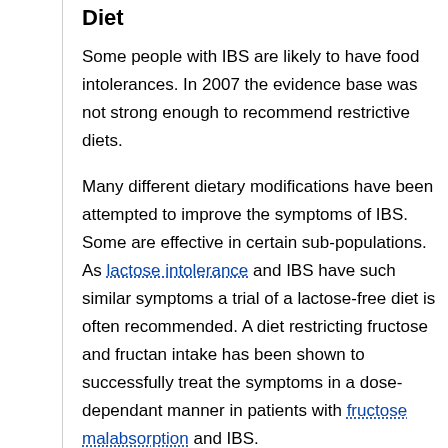Diet
Some people with IBS are likely to have food intolerances. In 2007 the evidence base was not strong enough to recommend restrictive diets.
Many different dietary modifications have been attempted to improve the symptoms of IBS. Some are effective in certain sub-populations. As lactose intolerance and IBS have such similar symptoms a trial of a lactose-free diet is often recommended. A diet restricting fructose and fructan intake has been shown to successfully treat the symptoms in a dose-dependant manner in patients with fructose malabsorption and IBS.
While many IBS patients believe they have some form of dietary intolerance, tests attempting to